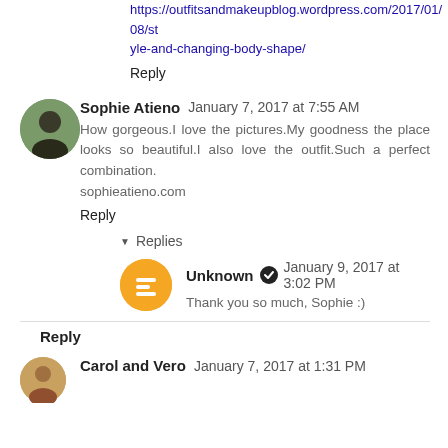https://outfitsandmakeupblog.wordpress.com/2017/01/08/style-and-changing-body-shape/
Reply
Sophie Atieno  January 7, 2017 at 7:55 AM
How gorgeous.I love the pictures.My goodness the place looks so beautiful.I also love the outfit.Such a perfect combination.
sophieatieno.com
Reply
▾  Replies
Unknown  ✔  January 9, 2017 at 3:02 PM
Thank you so much, Sophie :)
Reply
Carol and Vero  January 7, 2017 at 1:31 PM